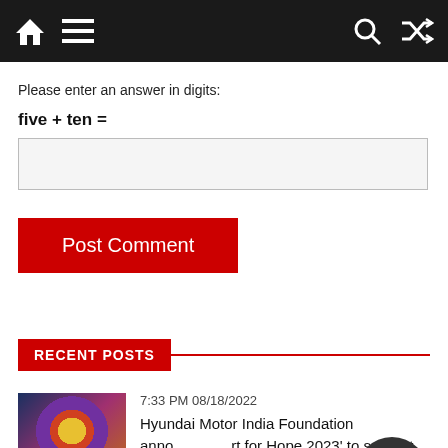Navigation bar with home, menu, search, and shuffle icons
Please enter an answer in digits:
five + ten =
RECENT POSTS
7:33 PM 08/18/2022
Hyundai Motor India Foundation announced 'Art for Hope 2023' to support Art & Culture Community in India
[Figure (illustration): Colorful artwork thumbnail labeled 'Art for hope 2023']